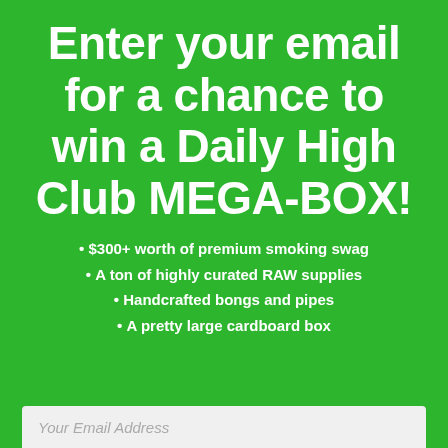Enter your email for a chance to win a Daily High Club MEGA-BOX!
$300+ worth of premium smoking swag
A ton of highly curated RAW supplies
Handcrafted bongs and pipes
A pretty large cardboard box
Your Email Address